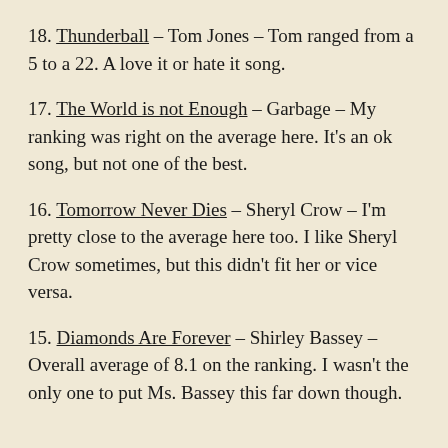18. Thunderball – Tom Jones – Tom ranged from a 5 to a 22.  A love it or hate it song.
17. The World is not Enough – Garbage – My ranking was right on the average here.  It's an ok song, but not one of the best.
16. Tomorrow Never Dies – Sheryl Crow – I'm pretty close to the average here too.  I like Sheryl Crow sometimes, but this didn't fit her or vice versa.
15. Diamonds Are Forever – Shirley Bassey – Overall average of 8.1 on the ranking.  I wasn't the only one to put Ms. Bassey this far down though.